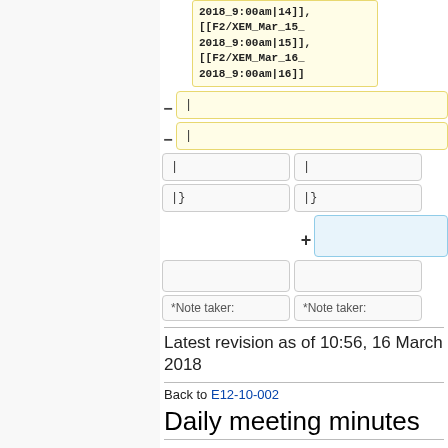2018_9:00am|14]], [[F2/XEM_Mar_15_2018_9:00am|15]], [[F2/XEM_Mar_16_2018_9:00am|16]]
- |
- |
| | | |
|} |}
+ (empty blue box)
(empty boxes)
*Note taker: *Note taker:
Latest revision as of 10:56, 16 March 2018
Back to E12-10-002
Daily meeting minutes